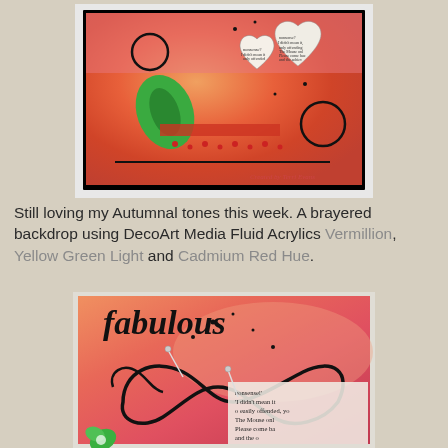[Figure (photo): Mixed media art card with brayered background in autumnal orange, red, pink tones. Features heart shapes cut from book pages, green painted leaf, black circular doodles, and scattered red dots. Text reads 'Created by Terri Evans' in bottom right corner.]
Still loving my Autumnal tones this week. A brayered backdrop using DecoArt Media Fluid Acrylics Vermillion, Yellow Green Light and Cadmium Red Hue.
[Figure (photo): Close-up of mixed media art work showing 'fabulous' written in script at top, with book page text visible reading 'nonsense', 'I didn't mean it', 'easily offended', 'The Mouse only', 'Please come ba', 'and the o', 'and the Mou'. Large black circular infinity-style doodle overlaid on orange and pink brayered background. Small green flower/leaf element visible at bottom.]